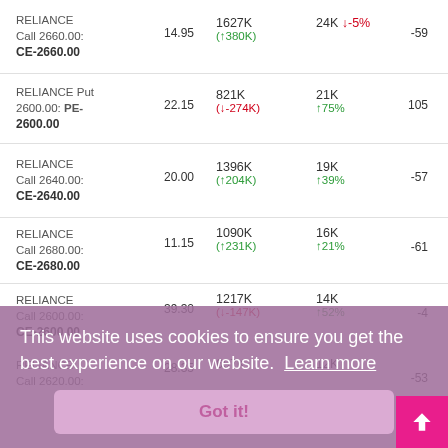| Name | Price | Volume | OI | Change |
| --- | --- | --- | --- | --- |
| RELIANCE Call 2660.00: CE-2660.00 | 14.95 | 1627K (↑380K) | 24K ↓-5% | -59 |
| RELIANCE Put 2600.00: PE-2600.00 | 22.15 | 821K (↓-274K) | 21K ↑75% | 105 |
| RELIANCE Call 2640.00: CE-2640.00 | 20.00 | 1396K (↑204K) | 19K ↑39% | -57 |
| RELIANCE Call 2680.00: CE-2680.00 | 11.15 | 1090K (↑231K) | 16K ↑21% | -61 |
| RELIANCE Call 2600.00: CE-2600.00 | 39.30 | 1217K (↓-147K) | 14K ↑52% | -4? |
| RELIANCE Call 2620.00: | 28.35 | 697K | 12K | -53 |
This website uses cookies to ensure you get the best experience on our website. Learn more
Got it!